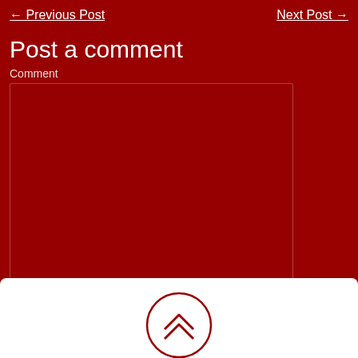← Previous Post    Next Post →
Post a comment
Comment
No HTML but links are fine.
Name
Post Comment
[Figure (illustration): White circular icon with double upward chevron arrows on white background at bottom of page]